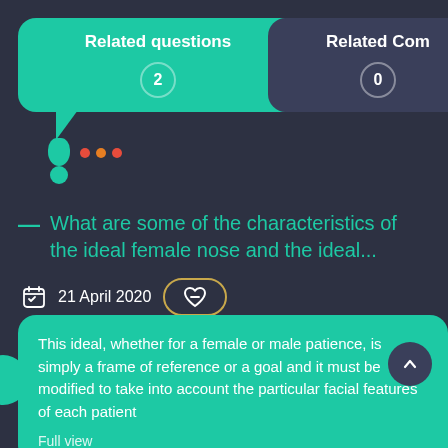Related questions 2
Related Com 0
What are some of the characteristics of the ideal female nose and the ideal...
21 April 2020
This ideal, whether for a female or male patience, is simply a frame of reference or a goal and it must be modified to take into account the particular facial features of each patient
Full view